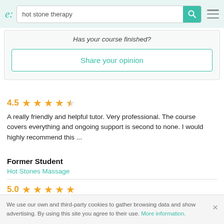e: hot stone therapy [search bar with teal search button and hamburger menu]
Has your course finished?
Share your opinion
4.5 ★★★★½
A really friendly and helpful tutor. Very professional. The course covers everything and ongoing support is second to none. I would highly recommend this ...
Former Student
Hot Stones Massage
5.0 ★★★★★
We use our own and third-party cookies to gather browsing data and show advertising. By using this site you agree to their use. More information.